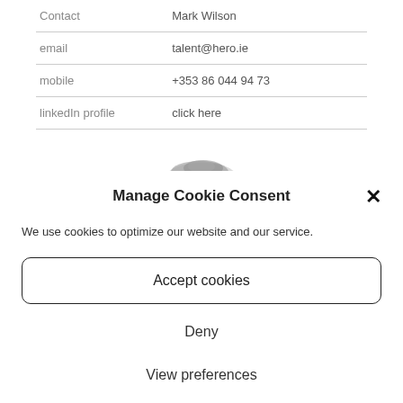|  |  |
| --- | --- |
| Contact | Mark Wilson |
| email | talent@hero.ie |
| mobile | +353 86 044 94 73 |
| linkedIn profile | click here |
[Figure (photo): Partial image of a cookie, partially visible at top of modal dialog]
Manage Cookie Consent
We use cookies to optimize our website and our service.
Accept cookies
Deny
View preferences